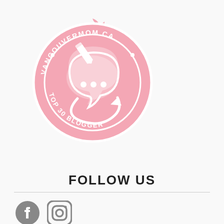[Figure (logo): Pink scalloped badge/seal for VancouverMom.ca Top 30 Blogger, featuring a chat bubble with dots and a pencil icon, white text on pink background]
FOLLOW US
[Figure (logo): Facebook and Instagram social media icons in gray]